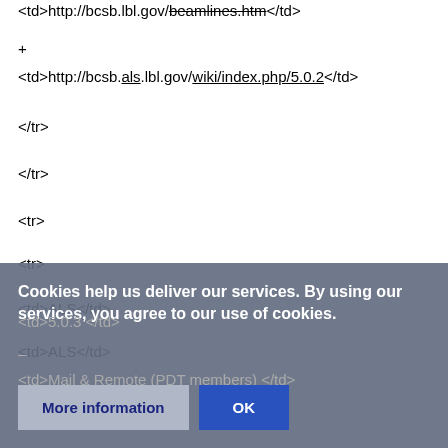<td>http://bcsb.lbl.gov/beamlines.htm</td>
+
<td>http://bcsb.als.lbl.gov/wiki/index.php/5.0.2</td>
</tr>
</tr>
<tr>
<tr>
<td>ALS</td>
<td>ALS</td>
<td>5.0.3 </td>
–
<td>Mail & Remote (PDT members)</td>
Cookies help us deliver our services. By using our services, you agree to our use of cookies.